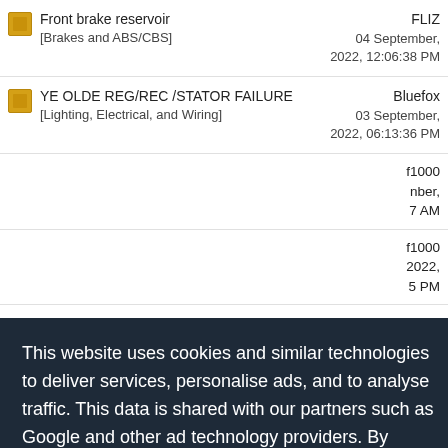Front brake reservoir [Brakes and ABS/CBS] — FLIZ, 04 September, 2022, 12:06:38 PM
YE OLDE REG/REC /STATOR FAILURE [Lighting, Electrical, and Wiring] — Bluefox, 03 September, 2022, 06:13:36 PM
[partial] ...1000 ...nber, ...7 AM
[partial] ...1000 2022, ...5 PM
[partial] ...ftek1 2022, ...7 PM
[partial] ...ftek1 2022, ...6 PM
[partial] ...ftek1 31 August, 2022, 12:17:... PM
[New Members]
This website uses cookies and similar technologies to deliver services, personalise ads, and to analyse traffic. This data is shared with our partners such as Google and other ad technology providers. By continuing to use this website you agree to this. View our Privacy and Cookie Policy
I Agree